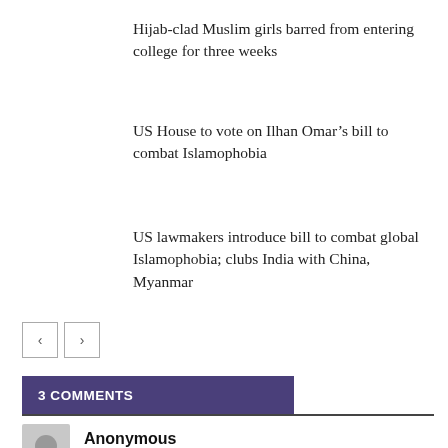Hijab-clad Muslim girls barred from entering college for three weeks
US House to vote on Ilhan Omar’s bill to combat Islamophobia
US lawmakers introduce bill to combat global Islamophobia; clubs India with China, Myanmar
3 COMMENTS
Anonymous